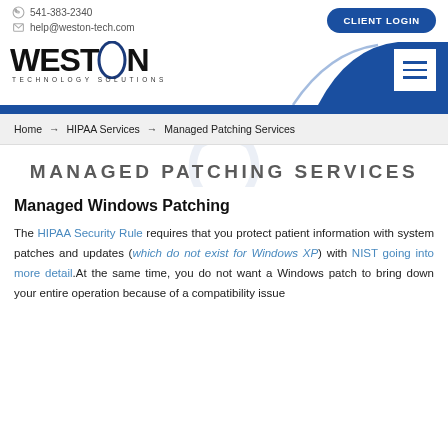541-383-2340 | help@weston-tech.com | CLIENT LOGIN
[Figure (logo): Weston Technology Solutions logo with blue arc graphic and hamburger menu icon]
Home → HIPAA Services → Managed Patching Services
MANAGED PATCHING SERVICES
Managed Windows Patching
The HIPAA Security Rule requires that you protect patient information with system patches and updates (which do not exist for Windows XP) with NIST going into more detail.At the same time, you do not want a Windows patch to bring down your entire operation because of a compatibility issue